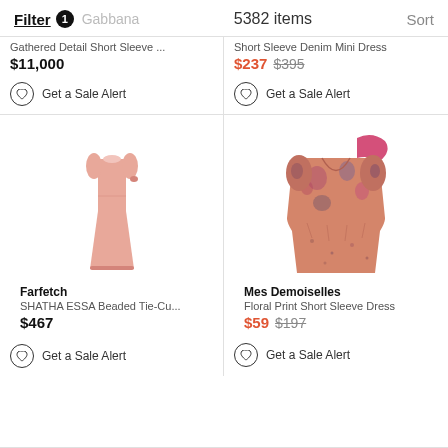Filter 1  Gabbana  5382 items  Sort
Gathered Detail Short Sleeve ...
$11,000
Get a Sale Alert
Short Sleeve Denim Mini Dress
$237  $395
Get a Sale Alert
[Figure (photo): Pink long sleeve midi dress on white background]
Farfetch
SHATHA ESSA Beaded Tie-Cu...
$467
Get a Sale Alert
[Figure (photo): Floral print short sleeve mini dress in orange/pink tones on white background]
Mes Demoiselles
Floral Print Short Sleeve Dress
$59  $197
Get a Sale Alert